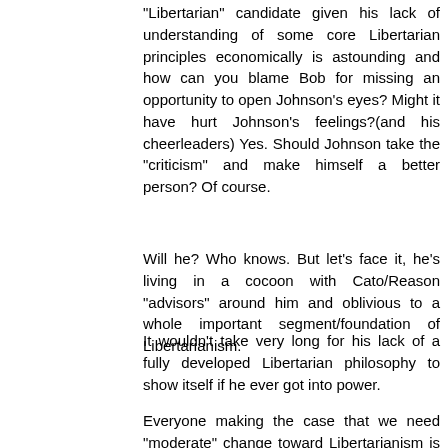"Libertarian" candidate given his lack of understanding of some core Libertarian principles economically is astounding and how can you blame Bob for missing an opportunity to open Johnson's eyes? Might it have hurt Johnson's feelings?(and his cheerleaders) Yes. Should Johnson take the "criticism" and make himself a better person? Of course.
Will he? Who knows. But let's face it, he's living in a cocoon with Cato/Reason "advisors" around him and oblivious to a whole important segment/foundation of Libertarianism.
It wouldn't take very long for his lack of a fully developed Libertarian philosophy to show itself if he ever got into power.
Everyone making the case that we need "moderate" change toward Libertarianism is wrong. When someone like Johnson eventually gets embarrassed by his own lack of understanding(and he will!) the "moderation" you are all clamoring for will end up hurting the cause.